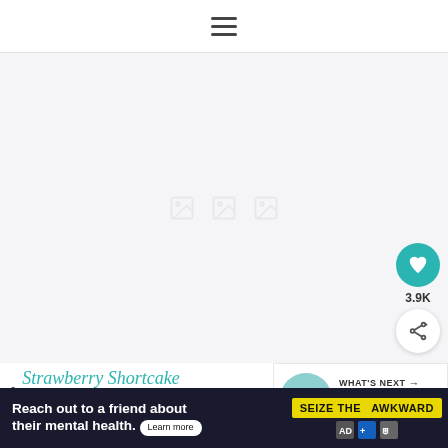≡ (hamburger menu icon)
[Figure (photo): Large image area, mostly blank/light gray with faint placeholder icons in center. A teal heart button showing 3.9K and a share button are overlaid at lower right.]
Strawberry Shortcake Pancakes
[Figure (infographic): What's Next panel showing a circular photo of strawberry muffins with label WHAT'S NEXT → and title 'Strawberry Muffins']
[Figure (infographic): Ad banner: dark background. Text 'Reach out to a friend about their mental health. Learn more' with SEIZE THE AWKWARD badge and small logos on the right.]